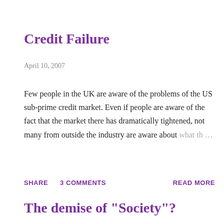Credit Failure
April 10, 2007
Few people in the UK are aware of the problems of the US sub-prime credit market. Even if people are aware of the fact that the market there has dramatically tightened, not many from outside the industry are aware about what th …
SHARE   3 COMMENTS   READ MORE
The demise of "Society"?